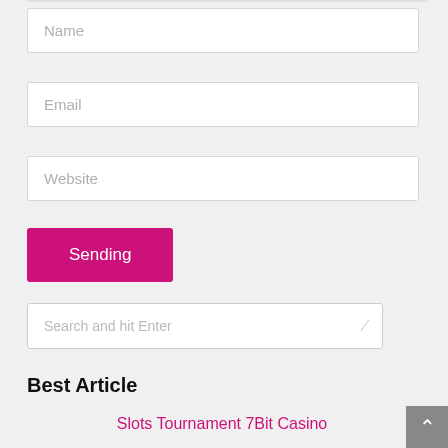[Figure (screenshot): Web form with Name, Email, Website input fields and a pink Sending button]
Name
Email
Website
Sending
Search and hit Enter
Best Article
Slots Tournament 7Bit Casino